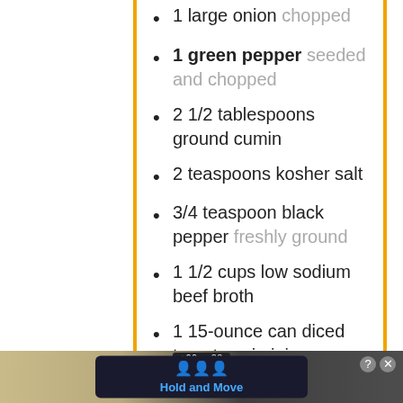1 large onion chopped
1 green pepper seeded and chopped
2 1/2 tablespoons ground cumin
2 teaspoons kosher salt
3/4 teaspoon black pepper freshly ground
1 1/2 cups low sodium beef broth
1 15-ounce can diced tomatoes in juice
1/2 cup chile paste (recipe
[Figure (screenshot): Advertisement banner at the bottom showing 'Hold and Move' app with a dark background, trees, score display, close and help buttons]